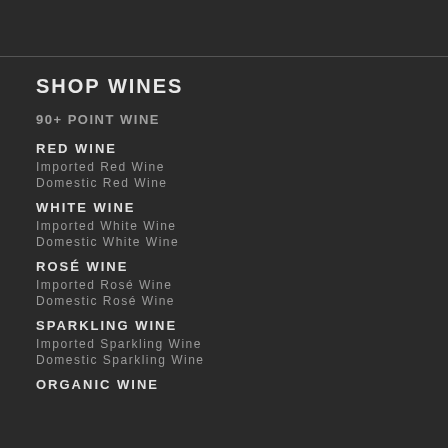SHOP WINES
90+ POINT WINE
RED WINE
Imported Red Wine
Domestic Red Wine
WHITE WINE
Imported White Wine
Domestic White Wine
ROSÉ WINE
Imported Rosé Wine
Domestic Rosé Wine
SPARKLING WINE
Imported Sparkling Wine
Domestic Sparkling Wine
ORGANIC WINE